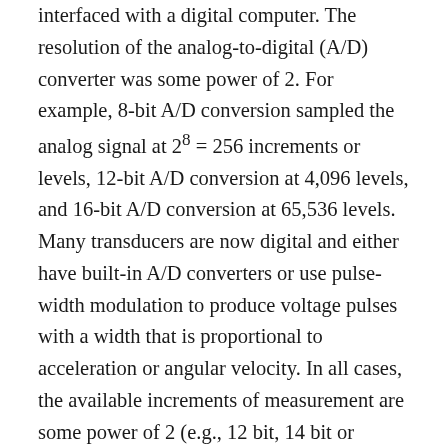interfaced with a digital computer. The resolution of the analog-to-digital (A/D) converter was some power of 2. For example, 8-bit A/D conversion sampled the analog signal at 2^8 = 256 increments or levels, 12-bit A/D conversion at 4,096 levels, and 16-bit A/D conversion at 65,536 levels. Many transducers are now digital and either have built-in A/D converters or use pulse-width modulation to produce voltage pulses with a width that is proportional to acceleration or angular velocity. In all cases, the available increments of measurement are some power of 2 (e.g., 12 bit, 14 bit or higher). A 12-bit resolution produces output readings in 4,096 increments. Thus, if the range of the transducer is −6 g to +6 g, the resolution is 12 g/4,096 = 0.00293 g per increment or 2.87 cm/second^2 per